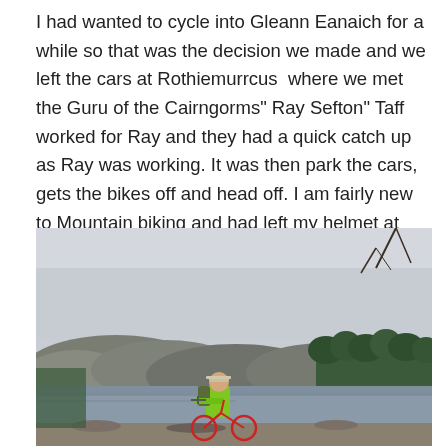I had wanted to cycle into Gleann Eanaich for a while so that was the decision we made and we left the cars at Rothiemurrcus  where we met the Guru of the Cairngorms" Ray Sefton" Taff worked for Ray and they had a quick catch up as Ray was working. It was then park the cars, gets the bikes off and head off. I am fairly new to Mountain biking and had left my helmet at home and felt so vulnerable, never again but what a great day.
[Figure (photo): A cyclist in a bright green jacket and cap stands with a mountain bike beside a lake or loch. Behind them are rolling hills and a forest of trees under an overcast grey sky. The scene appears to be in the Scottish Highlands.]